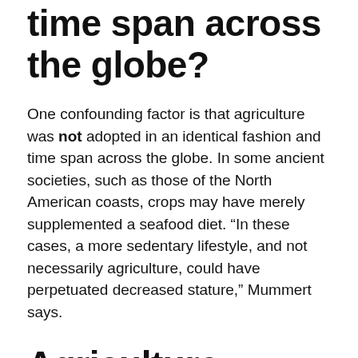time span across the globe?
One confounding factor is that agriculture was not adopted in an identical fashion and time span across the globe. In some ancient societies, such as those of the North American coasts, crops may have merely supplemented a seafood diet. “In these cases, a more sedentary lifestyle, and not necessarily agriculture, could have perpetuated decreased stature,” Mummert says.
Agriculture Impacts Many Different